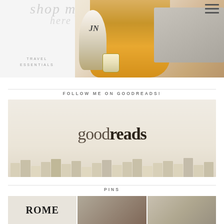[Figure (photo): Blog website screenshot showing top navigation with hamburger menu, watermark text 'shop my', monogram 'JN', and a photo of a woman in yellow shirt working on laptop with flowers and a decorative mug. Text overlay reads 'TRAVEL ESSENTIALS'.]
TRAVEL
ESSENTIALS
FOLLOW ME ON GOODREADS!
[Figure (logo): Goodreads logo displayed over a beige/cream background with books lined up at the bottom. The word 'good' appears in light weight and 'reads' in bold.]
PINS
[Figure (photo): Three thumbnail images in a row: first shows 'ROME' text in bold serif on light background, second and third are partial photos.]